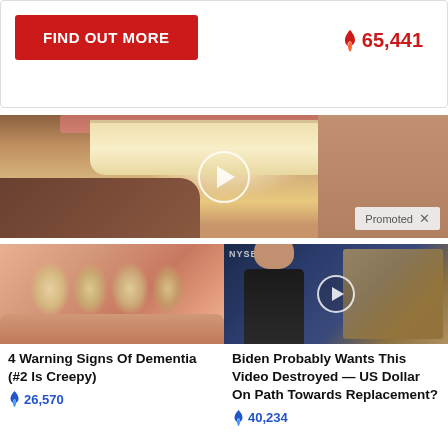[Figure (other): Red button labeled FIND OUT MORE with flame icon and count 65,441 to the right]
[Figure (photo): Close-up photo of a person's teeth and gums, with a large circular play button overlay and a 'Promoted X' badge in bottom right]
[Figure (photo): Close-up photo of yellowed fingernails/fingers]
4 Warning Signs Of Dementia (#2 Is Creepy)
26,570
[Figure (screenshot): Video thumbnail of a man at a NYSE desk with play button overlay]
Biden Probably Wants This Video Destroyed — US Dollar On Path Towards Replacement?
40,234